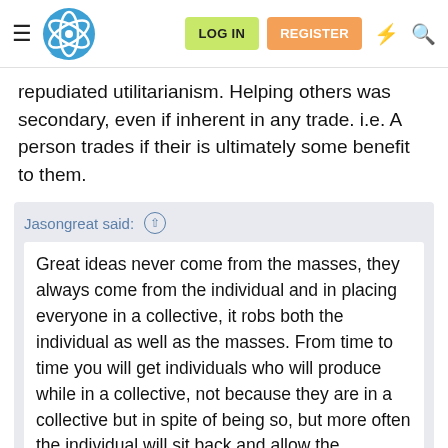Navigation bar with hamburger menu, logo, LOG IN, REGISTER, lightning icon, search icon
repudiated utilitarianism. Helping others was secondary, even if inherent in any trade. i.e. A person trades if their is ultimately some benefit to them.
Jasongreat said: ↑ Great ideas never come from the masses, they always come from the individual and in placing everyone in a collective, it robs both the individual as well as the masses. From time to time you will get individuals who will produce while in a collective, not because they are in a collective but in spite of being so, but more often the individual will sit back and allow the collective to produce for them, thereby robbing